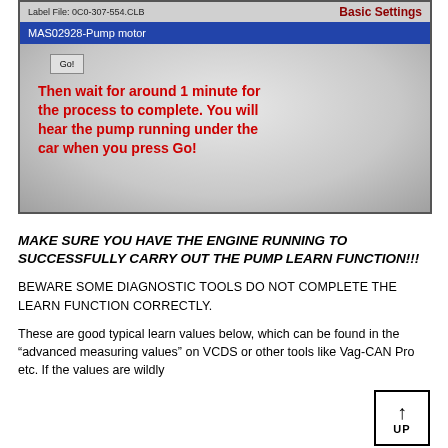[Figure (screenshot): Screenshot of VCDS Basic Settings interface showing Label File: 0C0-307-554.CLB, Basic Settings title, MAS02928-Pump motor selected in blue dropdown, Go button, and red overlay text: Then wait for around 1 minute for the process to complete. You will hear the pump running under the car when you press Go!]
MAKE SURE YOU HAVE THE ENGINE RUNNING TO SUCCESSFULLY CARRY OUT THE PUMP LEARN FUNCTION!!!
BEWARE SOME DIAGNOSTIC TOOLS DO NOT COMPLETE THE LEARN FUNCTION CORRECTLY.
These are good typical learn values below, which can be found in the “advanced measuring values” on VCDS or other tools like Vag-CAN Pro etc. If the values are wildly